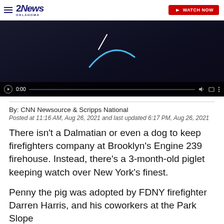2 News Oklahoma
[Figure (screenshot): Video player showing a dark background with a blue arc/loading indicator and video controls at the bottom showing 0:00 timestamp]
By: CNN Newsource & Scripps National
Posted at 11:16 AM, Aug 26, 2021 and last updated 6:17 PM, Aug 26, 2021
There isn't a Dalmatian or even a dog to keep firefighters company at Brooklyn's Engine 239 firehouse. Instead, there's a 3-month-old piglet keeping watch over New York's finest.
Penny the pig was adopted by FDNY firefighter Darren Harris, and his coworkers at the Park Slope